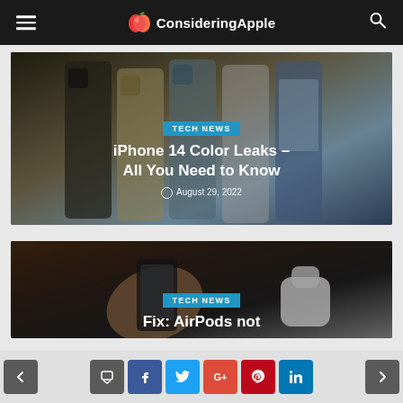ConsideringApple
[Figure (photo): Multiple iPhone 14 phones in various colors leaning against each other, showing front and back views]
TECH NEWS
iPhone 14 Color Leaks – All You Need to Know
August 29, 2022
[Figure (photo): A hand holding a smartphone near an open AirPods case on a wooden surface]
TECH NEWS
Fix: AirPods not
< f t G+ p in >